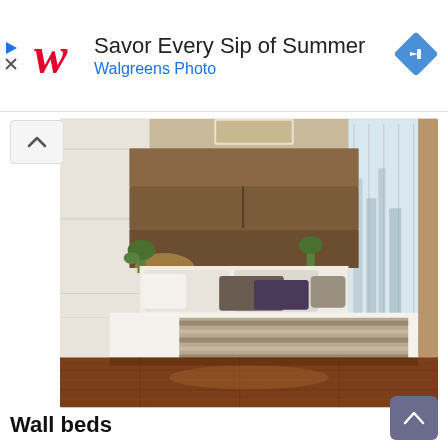[Figure (screenshot): Walgreens Photo advertisement banner with red cursive W logo, text 'Savor Every Sip of Summer' and 'Walgreens Photo' in blue, and a blue diamond navigation icon on the right]
[Figure (photo): Modern bedroom interior with a large bed featuring white linens, a striped taupe/brown throw blanket, dark wood headboard with built-in shelving and lighting, white cabinetry on the sides, plants, and large windows showing a city skyline. Dark hardwood floors in the foreground.]
Wall beds